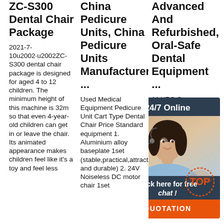ZC-S300 Dental Chair Package
2021-7-10u2002·u2002ZC-S300 dental chair package is designed for aged 4 to 12 children. The minimum height of this machine is 32m so that even 4-year-old children can get in or leave the chair. Its animated appearance makes children feel like it's a toy and feel less
China Pedicure Units, China Pedicure Units Manufacturers ...
Used Medical Equipment Pedicure Unit Cart Type Dental Chair Price Standard equipment 1. Aluminium alloy baseplate 1set (stable,practical,attractive and durable) 2. 24V Noiseless DC motor chair 1set
Advanced And Refurbished, Oral-Safe Dental Equipment ...
11 YRS German Dental Chair in Dental Model: Standard equipment of the Dental Chair: 1. Aluminium alloy baseplate 1set (stable,practical,attractive and durable) 2. 24V
[Figure (other): 24/7 Online chat widget with female agent wearing headset, dark blue header, orange QUOTATION button]